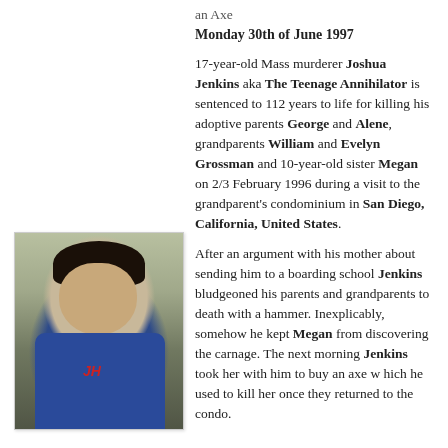an Axe
Monday 30th of June 1997
17-year-old Mass murderer Joshua Jenkins aka The Teenage Annihilator is sentenced to 112 years to life for killing his adoptive parents George and Alene, grandparents William and Evelyn Grossman and 10-year-old sister Megan on 2/3 February 1996 during a visit to the grandparent's condominium in San Diego, California, United States.
[Figure (photo): Black and white/color photo of a young man with dark hair wearing a blue sweatshirt with JH letters, hand near his chin]
After an argument with his mother about sending him to a boarding school Jenkins bludgeoned his parents and grandparents to death with a hammer. Inexplicably, somehow he kept Megan from discovering the carnage. The next morning Jenkins took her with him to buy an axe w hich he used to kill her once they returned to the condo.